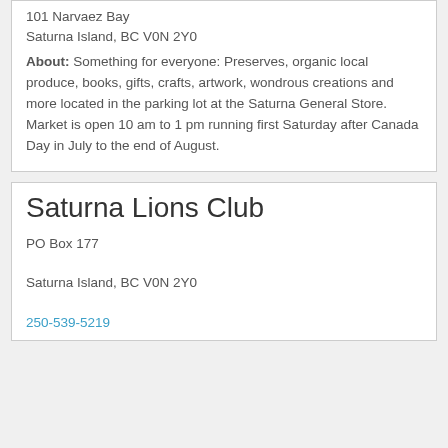101 Narvaez Bay
Saturna Island, BC V0N 2Y0
About: Something for everyone: Preserves, organic local produce, books, gifts, crafts, artwork, wondrous creations and more located in the parking lot at the Saturna General Store. Market is open 10 am to 1 pm running first Saturday after Canada Day in July to the end of August.
Saturna Lions Club
PO Box 177

Saturna Island, BC V0N 2Y0

250-539-5219